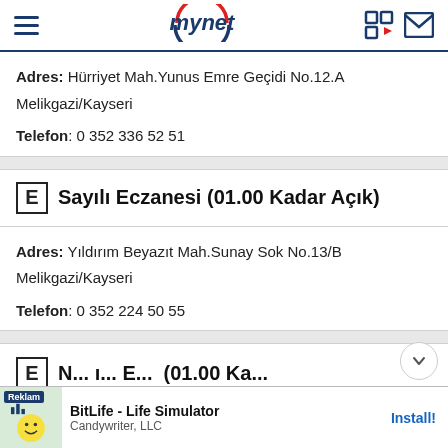mynet
Adres: Hürriyet Mah.Yunus Emre Geçidi No.12.A Melikgazi/Kayseri
Telefon: 0 352 336 52 51
E Sayılı Eczanesi (01.00 Kadar Açık)
Adres: Yıldırım Beyazıt Mah.Sunay Sok No.13/B Melikgazi/Kayseri
Telefon: 0 352 224 50 55
[Figure (screenshot): Advertisement banner for BitLife - Life Simulator by Candywriter, LLC with Install button]